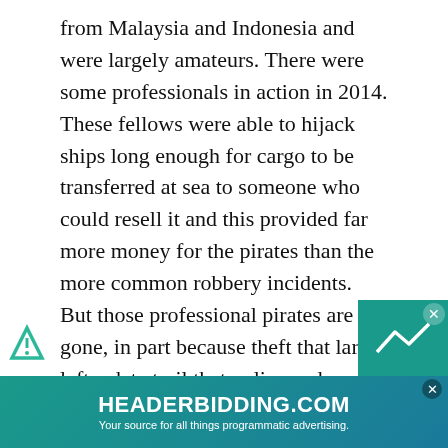from Malaysia and Indonesia and were largely amateurs. There were some professionals in action in 2014. These fellows were able to hijack ships long enough for cargo to be transferred at sea to someone who could resell it and this provided far more money for the pirates than the more common robbery incidents. But those professional pirates are gone, in part because theft that large left a data trail that police and intelligence agencies could pick up and follow. In 2015 Malaysia and Indonesia joined forces to run more helicopter and warship patrols through areas where most of these less costly robbery attacks were taking place. This sort of quick reaction patrol could move in quickly enough to catch pirates before they and their loot could disappear into one of the many coves or villages that dot the Malaysian and Indonesian coas... ("fe...
[Figure (other): Advertisement banner for HEADERBIDDING.COM with teal/cyan gradient background. Text reads 'HEADERBIDDING.COM' in large white bold letters, with subtitle 'Your source for all things programmatic advertising.' A close button (x) appears at top right.]